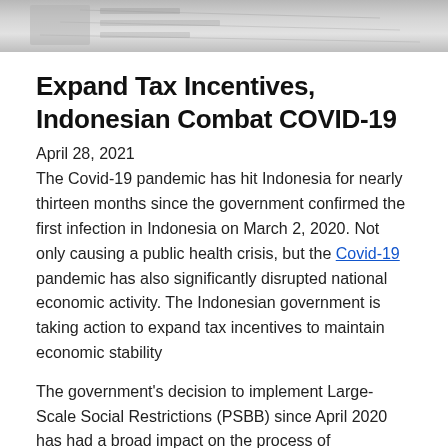[Figure (photo): Partial photo at top of page, appears to show tax/financial documents or a calculator, shown as a cropped strip at the top]
Expand Tax Incentives, Indonesian Combat COVID-19
April 28, 2021
The Covid-19 pandemic has hit Indonesia for nearly thirteen months since the government confirmed the first infection in Indonesia on March 2, 2020. Not only causing a public health crisis, but the Covid-19 pandemic has also significantly disrupted national economic activity. The Indonesian government is taking action to expand tax incentives to maintain economic stability
The government's decision to implement Large-Scale Social Restrictions (PSBB) since April 2020 has had a broad impact on the process of production, distribution, and